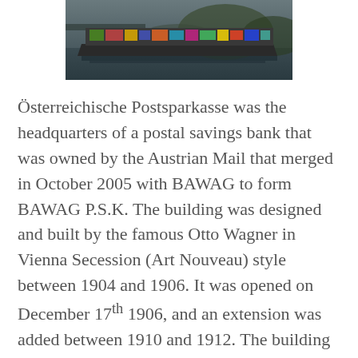[Figure (photo): A graffiti-covered boat or barge on a canal or river, seen from the side, with water and trees/bridge visible in background. Dark, moody photograph.]
Österreichische Postsparkasse was the headquarters of a postal savings bank that was owned by the Austrian Mail that merged in October 2005 with BAWAG to form BAWAG P.S.K. The building was designed and built by the famous Otto Wagner in Vienna Secession (Art Nouveau) style between 1904 and 1906. It was opened on December 17th 1906, and an extension was added between 1910 and 1912. The building is now used by BAWAG P.S.K. as their headquarters. The eight-